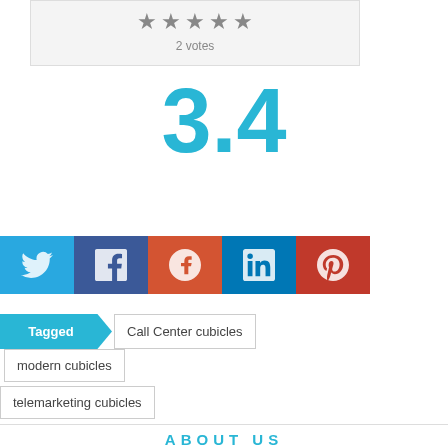[Figure (other): Star rating widget showing 5 stars and '2 votes']
3.4
[Figure (infographic): Social sharing buttons: Twitter, Facebook, Google+, LinkedIn, Pinterest]
Tagged  Call Center cubicles  modern cubicles  telemarketing cubicles
ABOUT US